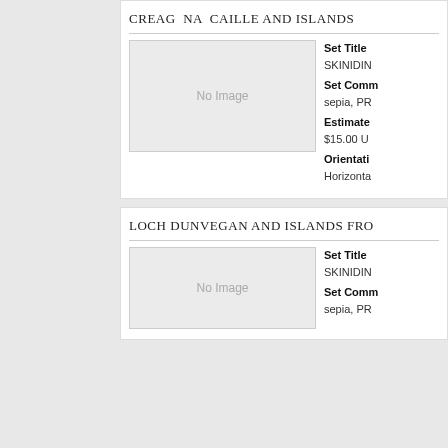CREAG NA CAILLE AND ISLANDS
[Figure (photo): No Image placeholder box]
Set Title
SKINIDIN
Set Comments
sepia, PR
Estimated Value
$15.00 U
Orientation
Horizontal
LOCH DUNVEGAN AND ISLANDS FRO
[Figure (photo): No Image placeholder box]
Set Title
SKINIDIN
Set Comments
sepia, PR